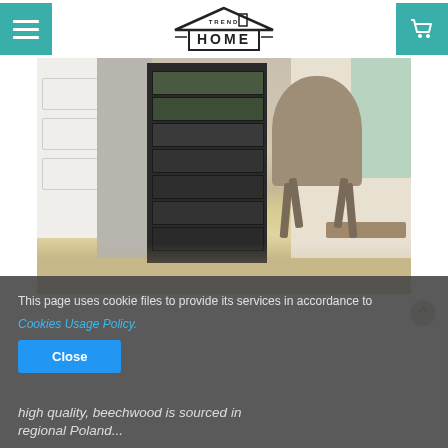[Figure (logo): Trend Home logo with house icon and horizontal menu and cart buttons in teal]
[Figure (photo): A dark dresser with green and dark drawer fronts next to a gray pillar and white cabinetry, with a beige chair and modern living room in background, light wood floor]
This page uses cookie files to provide its services in accordance to
Cookies Usage Policy.
Close
high quality, beechwood is sourced in regional Poland...